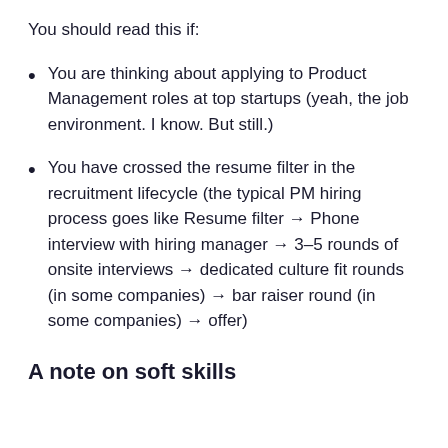You should read this if:
You are thinking about applying to Product Management roles at top startups (yeah, the job environment. I know. But still.)
You have crossed the resume filter in the recruitment lifecycle (the typical PM hiring process goes like Resume filter → Phone interview with hiring manager → 3–5 rounds of onsite interviews → dedicated culture fit rounds (in some companies) → bar raiser round (in some companies) → offer)
A note on soft skills